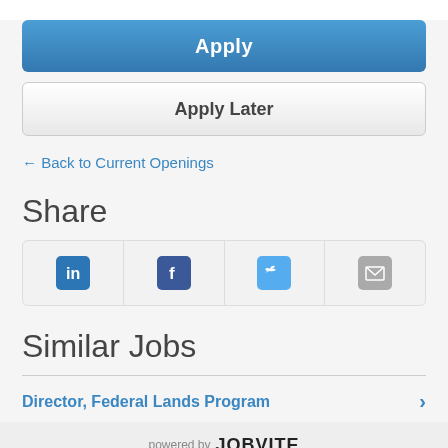Apply
Apply Later
← Back to Current Openings
Share
[Figure (other): Social share buttons row with LinkedIn, Facebook, Twitter, and Email icons]
Similar Jobs
Director, Federal Lands Program
powered by JOBVITE